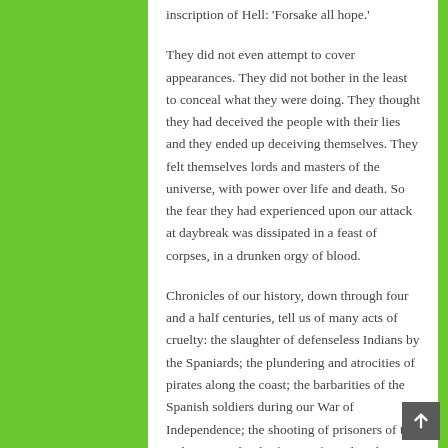inscription of Hell: 'Forsake all hope.'
They did not even attempt to cover appearances. They did not bother in the least to conceal what they were doing. They thought they had deceived the people with their lies and they ended up deceiving themselves. They felt themselves lords and masters of the universe, with power over life and death. So the fear they had experienced upon our attack at daybreak was dissipated in a feast of corpses, in a drunken orgy of blood.
Chronicles of our history, down through four and a half centuries, tell us of many acts of cruelty: the slaughter of defenseless Indians by the Spaniards; the plundering and atrocities of pirates along the coast; the barbarities of the Spanish soldiers during our War of Independence; the shooting of prisoners of the Cuban Army by the forces of Weyler; the horrors of the Machado regime, and so on through the bloody crimes of March, 1935. But never has such a sad and bloody page been written in numbers of victims and in the viciousness of the victimizers, as in Santiago de